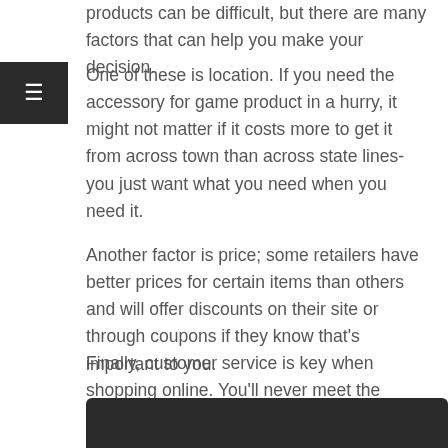products can be difficult, but there are many factors that can help you make your decision.
One of these is location. If you need the accessory for game product in a hurry, it might not matter if it costs more to get it from across town than across state lines- you just want what you need when you need it.
Another factor is price; some retailers have better prices for certain items than others and will offer discounts on their site or through coupons if they know that's important to you.
Finally, customer service is key when shopping online. You'll never meet the person behind the company who has your credit card information and personal information stored in their databases.
[Figure (photo): Dark image bar visible at the bottom of the page]